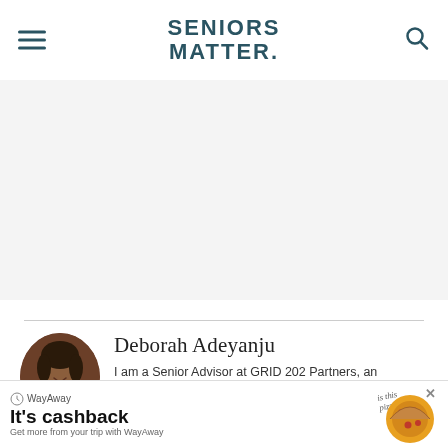SENIORS MATTER.
[Figure (photo): Circular portrait photo of Deborah Adeyanju, a woman smiling]
Deborah Adeyanju
I am a Senior Advisor at GRID 202 Partners, an independent RIA firm, where I work with individual and institutional clients to put a financial plan in place, set and manage an investment strategy, and build long-term wealth.
LEARN MORE
[Figure (infographic): WayAway advertisement banner: It's cashback - Get more from your trip with WayAway, with pizza illustration]